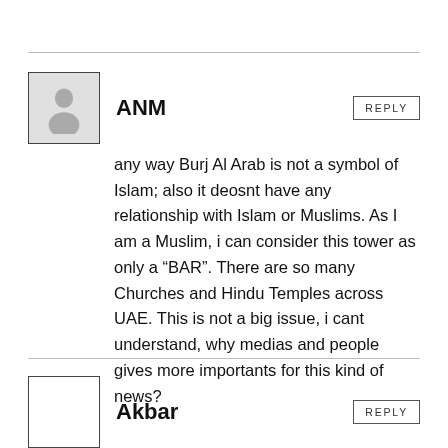ANM
any way Burj Al Arab is not a symbol of Islam; also it deosnt have any relationship with Islam or Muslims. As I am a Muslim, i can consider this tower as only a “BAR”. There are so many Churches and Hindu Temples across UAE. This is not a big issue, i cant understand, why medias and people gives more importants for this kind of news?
Akbar